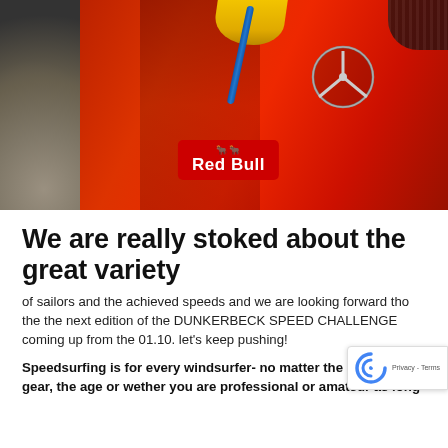[Figure (photo): A red windsurfing board/sail with Red Bull logo and Mercedes star logo, lying on a rocky beach. A yellow board is visible at top. Blue tube/handle visible. Person's legs partially visible.]
We are really stoked about the great variety
of sailors and the achieved speeds and we are looking forward tho the the next edition of the DUNKERBECK SPEED CHALLENGE coming up from the 01.10. let's keep pushing!
Speedsurfing is for every windsurfer- no matter the spot, the gear, the age or wether you are professional or amateur as long